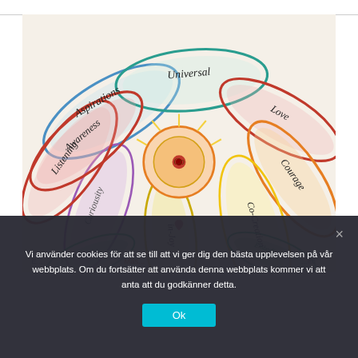[Figure (illustration): Hand-drawn colorful flower with petals labeled: Aspirations, Universal, Love, Courage, Co-Creation, in-Joy, Curiousity, Listening, Awareness. Center labeled 'Co'. Leaves at the bottom with partial text: Practice, Embodiment, and other words.]
Vi använder cookies för att se till att vi ger dig den bästa upplevelsen på vår webbplats. Om du fortsätter att använda denna webbplats kommer vi att anta att du godkänner detta.
Ok